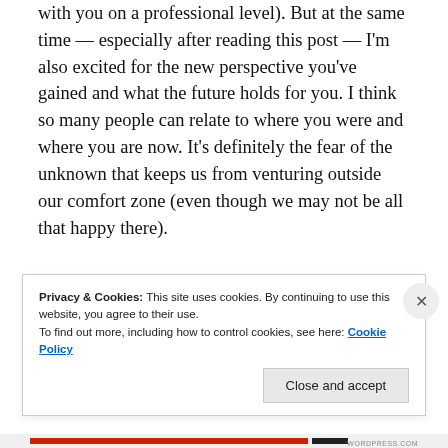with you on a professional level). But at the same time — especially after reading this post — I'm also excited for the new perspective you've gained and what the future holds for you. I think so many people can relate to where you were and where you are now. It's definitely the fear of the unknown that keeps us from venturing outside our comfort zone (even though we may not be all that happy there).
Bottom line, you're extremely talented and
Privacy & Cookies: This site uses cookies. By continuing to use this website, you agree to their use.
To find out more, including how to control cookies, see here: Cookie Policy